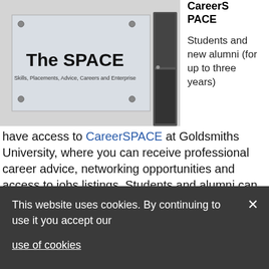[Figure (photo): A glass sign reading 'The SPACE – Skills, Placements, Advice, Careers and Enterprise' mounted on a white wall, with a door visible to the right.]
CareerSPACE
Students and new alumni (for up to three years) have access to CareerSPACE at Goldsmiths University, where you can receive professional career advice, networking opportunities and access to jobs listings. Students and alumni can create an account here.
This website uses cookies. By continuing to use it you accept our

use of cookies